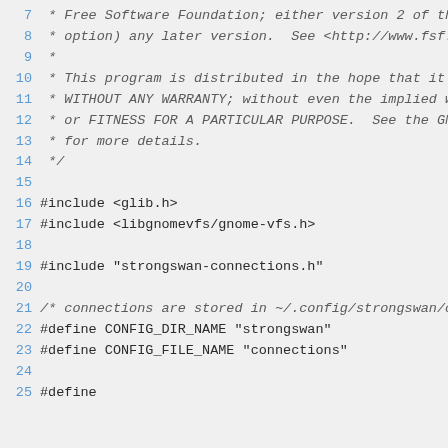Source code listing lines 7-25, showing GPL license comment and include directives for glib.h, libgnomevfs/gnome-vfs.h, strongswan-connections.h, and #define macros for CONFIG_DIR_NAME and CONFIG_FILE_NAME